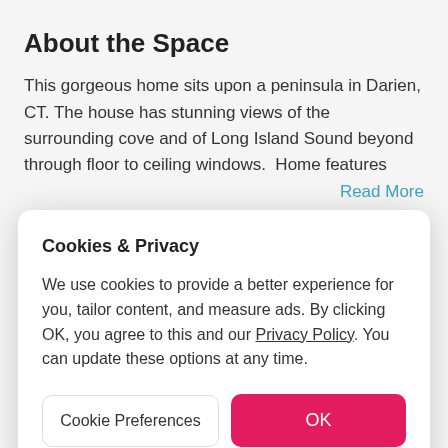About the Space
This gorgeous home sits upon a peninsula in Darien, CT. The house has stunning views of the surrounding cove and of Long Island Sound beyond through floor to ceiling windows.  Home features   Read More
Cookies & Privacy
We use cookies to provide a better experience for you, tailor content, and measure ads. By clicking OK, you agree to this and our Privacy Policy. You can update these options at any time.
Cookie Preferences
OK